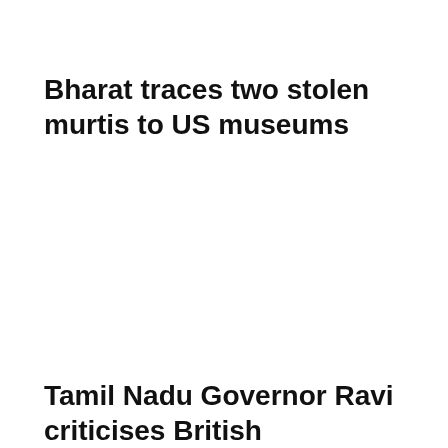Bharat traces two stolen murtis to US museums
Tamil Nadu Governor Ravi criticises British